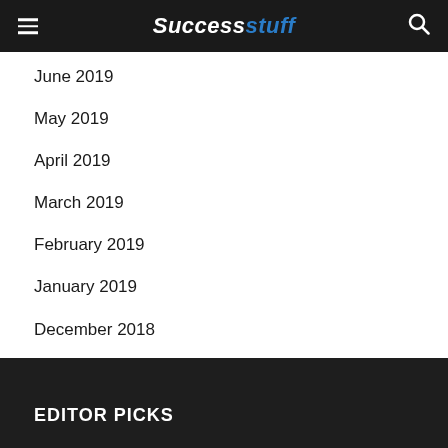Successtuff
June 2019
May 2019
April 2019
March 2019
February 2019
January 2019
December 2018
November 2018
EDITOR PICKS